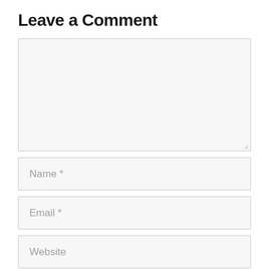Leave a Comment
[Figure (screenshot): A web comment form with a large text area for comment input, followed by input fields for Name *, Email *, and Website. All fields have a light gray background and border.]